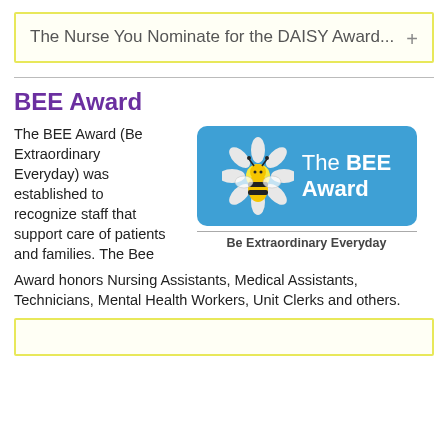The Nurse You Nominate for the DAISY Award...
BEE Award
The BEE Award (Be Extraordinary Everyday) was established to recognize staff that support care of patients and families. The Bee Award honors Nursing Assistants, Medical Assistants, Technicians, Mental Health Workers, Unit Clerks and others.
[Figure (logo): The BEE Award logo on a blue rounded rectangle background, featuring a bee illustration on a daisy flower, with text 'The BEE Award' and tagline 'Be Extraordinary Everyday']